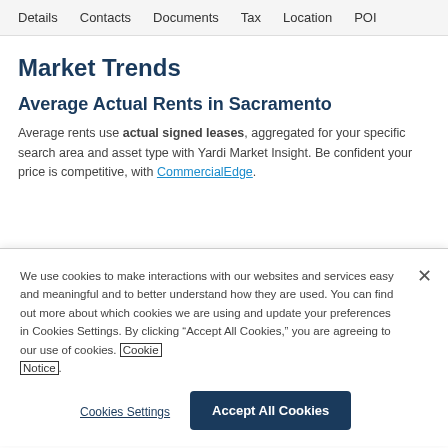Details   Contacts   Documents   Tax   Location   POI
Market Trends
Average Actual Rents in Sacramento
Average rents use actual signed leases, aggregated for your specific search area and asset type with Yardi Market Insight. Be confident your price is competitive, with CommercialEdge.
We use cookies to make interactions with our websites and services easy and meaningful and to better understand how they are used. You can find out more about which cookies we are using and update your preferences in Cookies Settings. By clicking “Accept All Cookies,” you are agreeing to our use of cookies. Cookie Notice.
Cookies Settings   Accept All Cookies